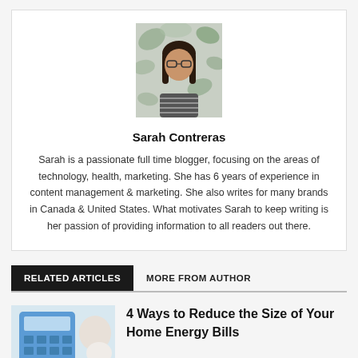[Figure (photo): Author photo of Sarah Contreras, a young woman with glasses and long dark hair, wearing a striped shirt, standing in front of a floral background.]
Sarah Contreras
Sarah is a passionate full time blogger, focusing on the areas of technology, health, marketing. She has 6 years of experience in content management & marketing. She also writes for many brands in Canada & United States. What motivates Sarah to keep writing is her passion of providing information to all readers out there.
RELATED ARTICLES   MORE FROM AUTHOR
[Figure (photo): Thumbnail image showing a blue calculator and white objects on a light background, with a 'Home' label overlay at the bottom.]
4 Ways to Reduce the Size of Your Home Energy Bills